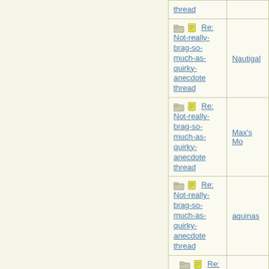| Thread | Author |
| --- | --- |
| Re: Not-really-brag-so-much-as-quirky-anecdote thread | Nautigal |
| Re: Not-really-brag-so-much-as-quirky-anecdote thread | Max's Mo |
| Re: Not-really-brag-so-much-as-quirky-anecdote thread | aquinas |
| Re: Not-really-brag-so-much-as-quirky-anecdote thread | SAHM |
| Re: Not-really-brag-so-much-as-quirky-anecdote thread | aquinas |
| Re: Not-really-brag-so-much-as-quirky-anecdote thread | aquinas |
| Re: Not-really-brag-so-much-as-quirky-anecdote thread |  |